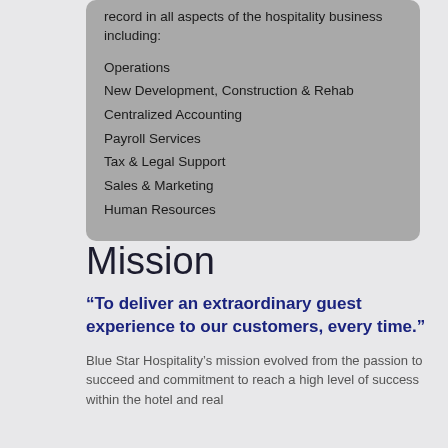record in all aspects of the hospitality business including:
Operations
New Development, Construction & Rehab
Centralized Accounting
Payroll Services
Tax & Legal Support
Sales & Marketing
Human Resources
Mission
“To deliver an extraordinary guest experience to our customers, every time.”
Blue Star Hospitality’s mission evolved from the passion to succeed and commitment to reach a high level of success within the hotel and real